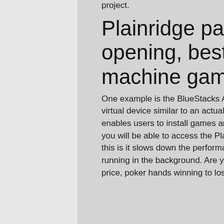project.
Plainridge park casino soft opening, best computer slot machine games
One example is the BlueStacks App Player. It is a powerful tool that provides users a virtual device similar to an actual phone, poker hands winning to losing. This also enables users to install games and other popular and in-demand applications. Thus, you will be able to access the Play Store without any restrictions. The downside of this is it slows down the performance of your computer even though the app is not running in the background. Are you looking for a suitable presentation pen at the best price, poker hands winning to losing. How do I know if my money is safe in an online